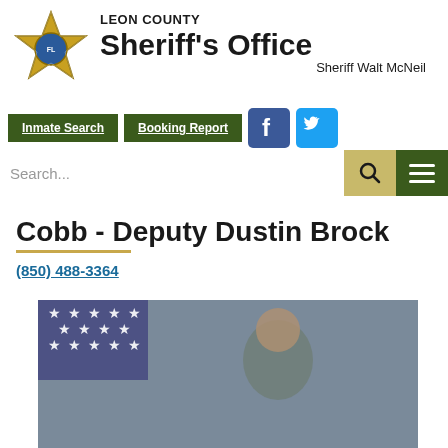[Figure (logo): Leon County Sheriff's Office star badge logo with Florida state seal in center]
LEON COUNTY Sheriff's Office Sheriff Walt McNeil
Inmate Search
Booking Report
[Figure (logo): Facebook logo icon (blue)]
[Figure (logo): Twitter logo icon (blue)]
Search...
Cobb - Deputy Dustin Brock
(850) 488-3364
[Figure (photo): Photo of Deputy Dustin Brock in uniform, American flag in background]